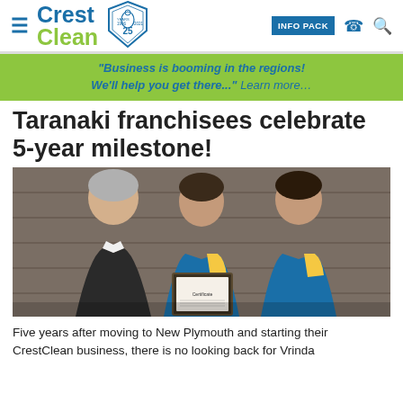CrestClean | INFO PACK
"Business is booming in the regions! We'll help you get there..." Learn more…
Taranaki franchisees celebrate 5-year milestone!
[Figure (photo): Three people standing together in front of a wood-panelled wall. On the left is an older man in a black sweater with white collar. In the middle is a woman in a blue CrestClean jacket holding a framed certificate. On the right is a young man in a blue CrestClean jacket. They are all smiling.]
Five years after moving to New Plymouth and starting their CrestClean business, there is no looking back for Vrinda